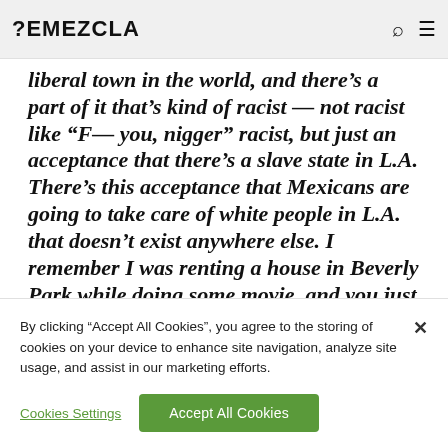REMEZCLA
liberal town in the world, and there’s a part of it that’s kind of racist — not racist like “F— you, nigger” racist, but just an acceptance that there’s a slave state in L.A. There’s this acceptance that Mexicans are going to take care of white people in L.A. that doesn’t exist anywhere else. I remember I was renting a house in Beverly Park while doing some movie, and you just see all of the Mexican people at 8 o’clock in the morning in a line driving into Beverly Park like it’s General Motors. It’s
By clicking “Accept All Cookies”, you agree to the storing of cookies on your device to enhance site navigation, analyze site usage, and assist in our marketing efforts.
Cookies Settings
Accept All Cookies